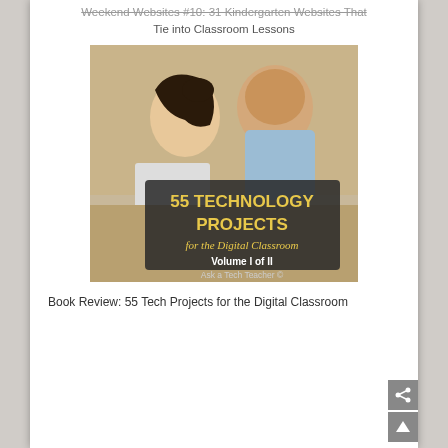Weekend Websites #10: 31 Kindergarten Websites That Tie into Classroom Lessons
[Figure (photo): Book cover of '55 Technology Projects for the Digital Classroom, Volume I of II' by Ask a Tech Teacher, showing a teacher helping a student, with dark overlay text on the lower portion.]
Book Review: 55 Tech Projects for the Digital Classroom